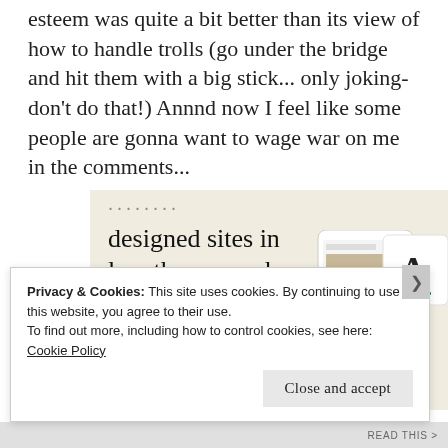esteem was quite a bit better than its view of how to handle trolls (go under the bridge and hit them with a big stick... only joking- don't do that!) Annnd now I feel like some people are gonna want to wage war on me in the comments...
[Figure (other): Advertisement banner with beige background showing text 'designed sites in less than a week' with a green 'Explore options' button and mockup screenshots of web designs.]
Privacy & Cookies: This site uses cookies. By continuing to use this website, you agree to their use.
To find out more, including how to control cookies, see here:
Cookie Policy
Close and accept